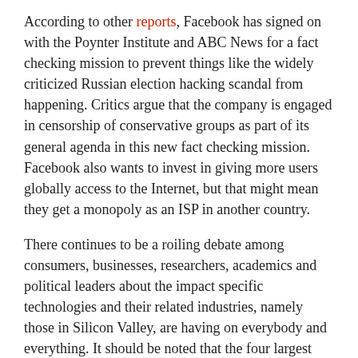According to other reports, Facebook has signed on with the Poynter Institute and ABC News for a fact checking mission to prevent things like the widely criticized Russian election hacking scandal from happening. Critics argue that the company is engaged in censorship of conservative groups as part of its general agenda in this new fact checking mission. Facebook also wants to invest in giving more users globally access to the Internet, but that might mean they get a monopoly as an ISP in another country.
There continues to be a roiling debate among consumers, businesses, researchers, academics and political leaders about the impact specific technologies and their related industries, namely those in Silicon Valley, are having on everybody and everything. It should be noted that the four largest tech companies (Google, Apple, Facebook and Amazon) have a combined net worth equal to the economy of Russia.
[Figure (infographic): Social sharing buttons: Facebook (blue), Twitter (light blue), Email (grey), Plus/More (orange-red)]